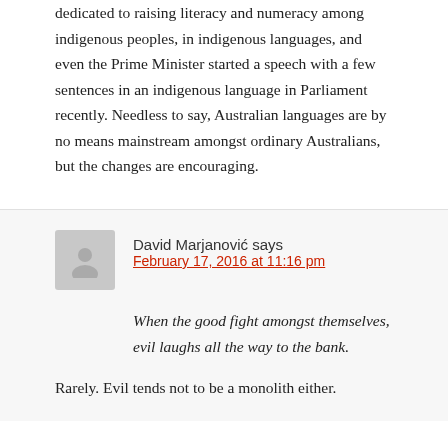dedicated to raising literacy and numeracy among indigenous peoples, in indigenous languages, and even the Prime Minister started a speech with a few sentences in an indigenous language in Parliament recently. Needless to say, Australian languages are by no means mainstream amongst ordinary Australians, but the changes are encouraging.
David Marjanović says
February 17, 2016 at 11:16 pm
When the good fight amongst themselves, evil laughs all the way to the bank.
Rarely. Evil tends not to be a monolith either.